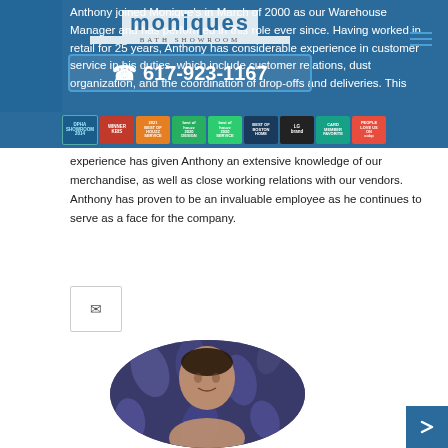Anthony joined Monique's in March of 2000 as our Warehouse Manager and has performed in this role ever since. Having worked in retail for 25 years, Anthony has considerable experience in customer service in his duties, which include customer relations, dust organization, and the coordination of drop-offs and deliveries. This experience has given Anthony an extensive knowledge of our merchandise, as well as close working relations with our vendors. Anthony has proven to be an invaluable employee as he continues to serve as a face for the company.
[Figure (photo): Circular profile photo of Anthony, a man with dark hair, against a patterned dark blue/navy fabric background]